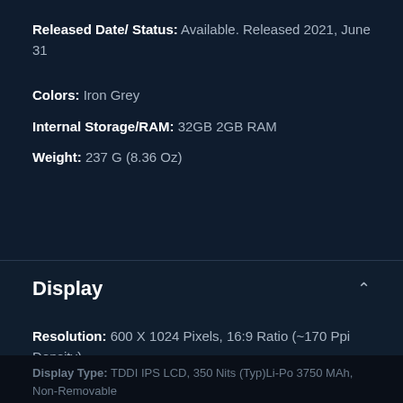Released Date/ Status: Available. Released 2021, June 31
Colors: Iron Grey
Internal Storage/RAM: 32GB 2GB RAM
Weight: 237 G (8.36 Oz)
Display
Resolution: 600 X 1024 Pixels, 16:9 Ratio (~170 Ppi Density)
Display Type: TDDI IPS LCD, 350 Nits (Typ)Li-Po 3750 MAh, Non-Removable